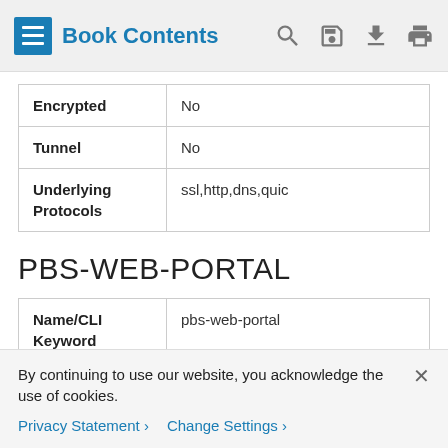Book Contents
| Encrypted | No |
| Tunnel | No |
| Underlying Protocols | ssl,http,dns,quic |
PBS-WEB-PORTAL
| Name/CLI Keyword | pbs-web-portal |
| Full Name | Public Broadcasting Service |
| Description | Public Broadcasting Service - an... |
By continuing to use our website, you acknowledge the use of cookies.
Privacy Statement > Change Settings >